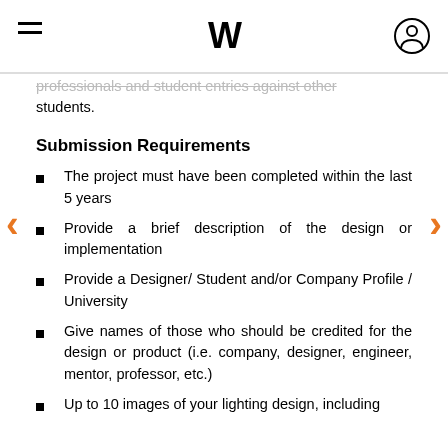W
professionals and student entries against other students.
Submission Requirements
The project must have been completed within the last 5 years
Provide a brief description of the design or implementation
Provide a Designer/ Student and/or Company Profile / University
Give names of those who should be credited for the design or product (i.e. company, designer, engineer, mentor, professor, etc.)
Up to 10 images of your lighting design, including